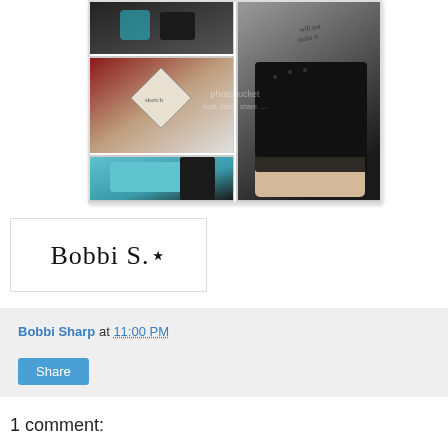[Figure (photo): Collage of four photos showing fingerless gloves: top-left shows dark gloves with blue accents, top-right shows a hand with tattoo wearing black sequin fingerless glove, mid-left shows a sketch/template on paper with red background, bottom-left shows a teal/turquoise fingerless glove being worn. A Photobucket watermark overlays the image.]
[Figure (illustration): Signature reading Bobbi S. in cursive script with a small star, inside a white box with border]
Bobbi Sharp at 11:00 PM
Share
1 comment: